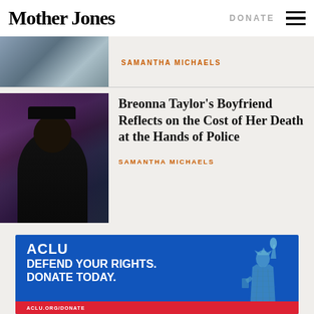Mother Jones | DONATE
SAMANTHA MICHAELS
[Figure (photo): Photo of a man in a black cap and hoodie standing in front of a colorful mural portrait of Breonna Taylor]
Breonna Taylor's Boyfriend Reflects on the Cost of Her Death at the Hands of Police
SAMANTHA MICHAELS
[Figure (infographic): ACLU advertisement with blue background. Text reads: ACLU / DEFEND YOUR RIGHTS. / DONATE TODAY. With a Statue of Liberty illustration on the right and a red bar at the bottom.]